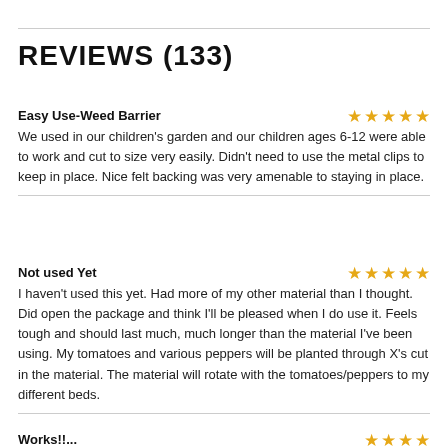REVIEWS (133)
Easy Use-Weed Barrier
We used in our children's garden and our children ages 6-12 were able to work and cut to size very easily. Didn't need to use the metal clips to keep in place. Nice felt backing was very amenable to staying in place.
Not used Yet
I haven't used this yet. Had more of my other material than I thought. Did open the package and think I'll be pleased when I do use it. Feels tough and should last much, much longer than the material I've been using. My tomatoes and various peppers will be planted through X's cut in the material. The material will rotate with the tomatoes/peppers to my different beds.
Works!!...